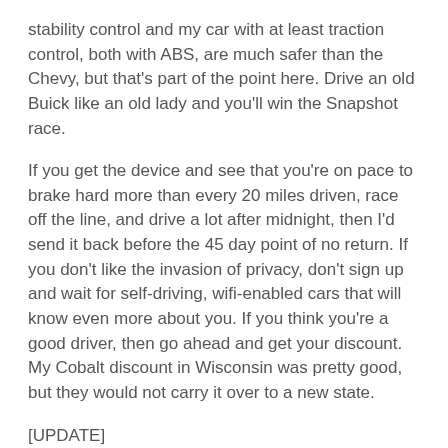stability control and my car with at least traction control, both with ABS, are much safer than the Chevy, but that's part of the point here. Drive an old Buick like an old lady and you'll win the Snapshot race.
If you get the device and see that you're on pace to brake hard more than every 20 miles driven, race off the line, and drive a lot after midnight, then I'd send it back before the 45 day point of no return. If you don't like the invasion of privacy, don't sign up and wait for self-driving, wifi-enabled cars that will know even more about you. If you think you're a good driver, then go ahead and get your discount. My Cobalt discount in Wisconsin was pretty good, but they would not carry it over to a new state.
[UPDATE]
We moved to Florida, where car insurance rates are even higher, so we're trying it all again. We had an A (me) and a B+ (wife) going, but then my car came back from the shop after a